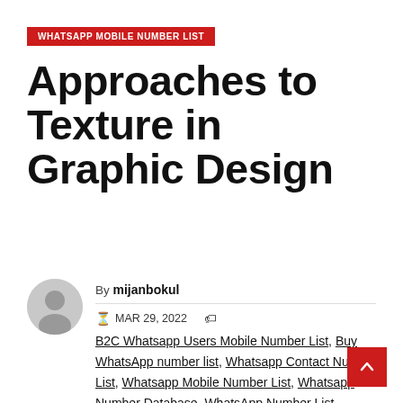WHATSAPP MOBILE NUMBER LIST
Approaches to Texture in Graphic Design
By mijanbokul
MAR 29, 2022
B2C Whatsapp Users Mobile Number List, Buy WhatsApp number list, Whatsapp Contact Number List, Whatsapp Mobile Number List, Whatsapp Number Database, WhatsApp Number List